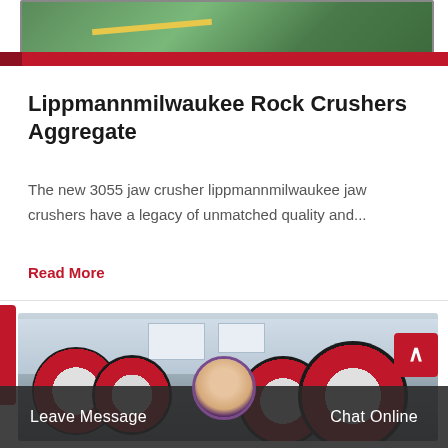[Figure (photo): Top portion of a green/teal surface photo with yellow markings, partially visible, with a red horizontal bar at the bottom of the image area]
Lippmannmilwaukee Rock Crushers Aggregate
The new 3055 jaw crusher lippmannmilwaukee jaw crushers have a legacy of unmatched quality and...
Read More
[Figure (photo): Industrial factory photo showing large red and white industrial wheels/rollers in a manufacturing facility with steel structure visible in background]
Leave Message
Chat Online